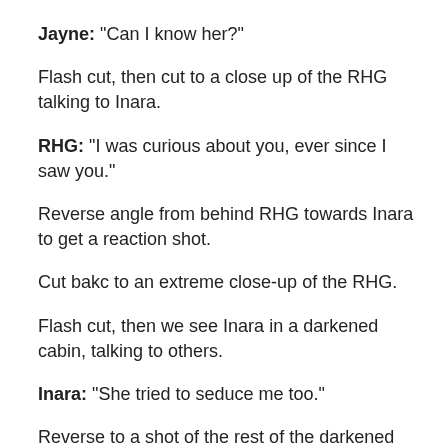Jayne: "Can I know her?"
Flash cut, then cut to a close up of the RHG talking to Inara.
RHG: "I was curious about you, ever since I saw you."
Reverse angle from behind RHG towards Inara to get a reaction shot.
Cut bakc to an extreme close-up of the RHG.
Flash cut, then we see Inara in a darkened cabin, talking to others.
Inara: "She tried to seduce me too."
Reverse to a shot of the rest of the darkened cabin, where we see Mal, Simon, and Jayne (I think) reacting to Inara's statement.
Cut to a shot of Book in a slightly darkened talking to...